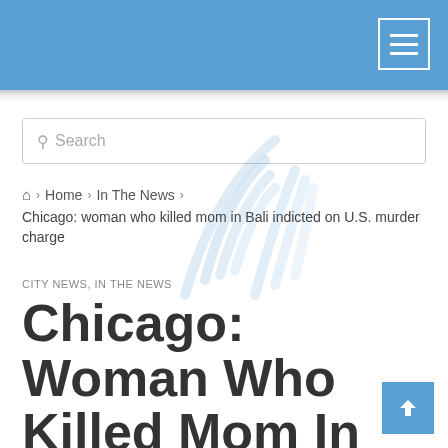Navigation header bar with hamburger menu
Search
Home > In The News > Chicago: woman who killed mom in Bali indicted on U.S. murder charge
CITY NEWS, IN THE NEWS
Chicago: Woman Who Killed Mom In Bali